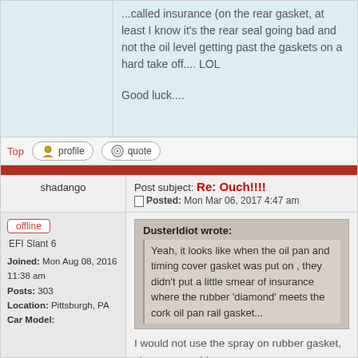...called insurance (on the rear gasket, at least I know it's the rear seal going bad and not the oil level getting past the gaskets on a hard take off.... LOL

Good luck....
Top
profile
quote
shadango
Post subject: Re: Ouch!!!!
Posted: Mon Mar 06, 2017 4:47 am
offline
EFI Slant 6
Joined: Mon Aug 08, 2016 11:38 am
Posts: 303
Location: Pittsburgh, PA
Car Model:
DusterIdiot wrote:
Yeah, it looks like when the oil pan and timing cover gasket was put on , they didn't put a little smear of insurance where the rubber 'diamond' meets the cork oil pan rail gasket...

I would not use the spray on rubber gasket, since you could